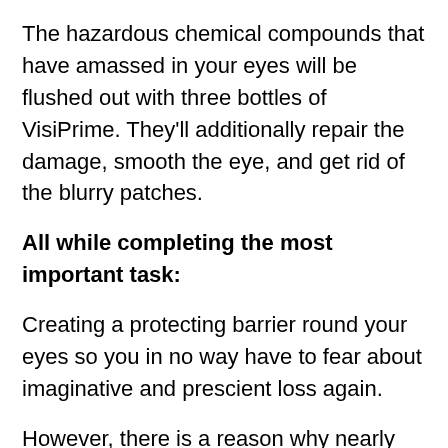The hazardous chemical compounds that have amassed in your eyes will be flushed out with three bottles of VisiPrime. They'll additionally repair the damage, smooth the eye, and get rid of the blurry patches.
All while completing the most important task:
Creating a protecting barrier round your eyes so you in no way have to fear about imaginative and prescient loss again.
However, there is a reason why nearly the majority of our consumers wisely opt for the 6-bottle deal. If you purchase the 6-bottle bundle, you will be able to regain your vision in just four months.
It will also contain that you are most definitely on the